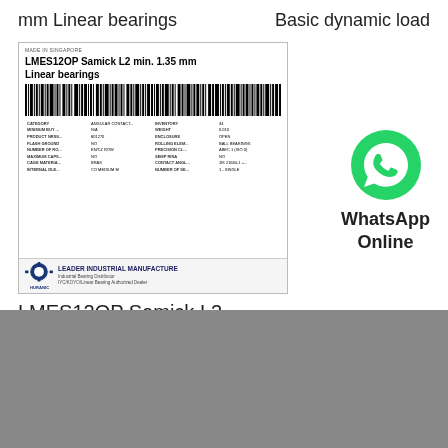mm Linear bearings
Basic dynamic load
[Figure (photo): Product listing card for LMES12OP Samick L2 min. 1.35 mm Linear bearings showing barcode, specs table, and Leader Industrial Manufacture logo]
LMES12OP Samick L2 min. 1.35 mm Linear
[Figure (logo): WhatsApp green phone icon with text WhatsApp Online]
Hello, how may I help you?
About Us | Contact Us | Site Map  Sitemaps
Chat now
ight © 2017 - 2022 All